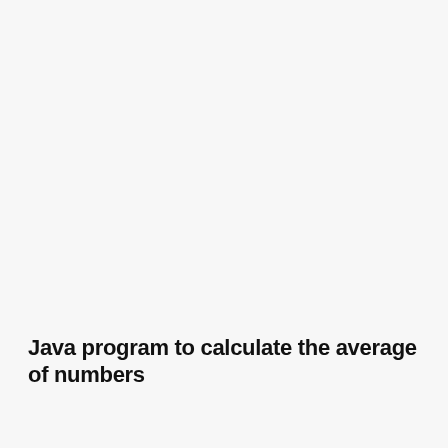Java program to calculate the average of numbers